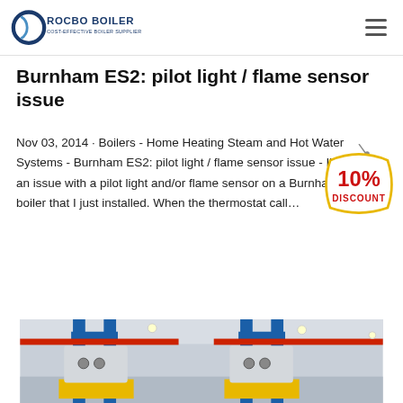ROCBO BOILER — COST-EFFECTIVE BOILER SUPPLIER
Burnham ES2: pilot light / flame sensor issue
Nov 03, 2014 · Boilers - Home Heating Steam and Hot Water Systems - Burnham ES2: pilot light / flame sensor issue - I'm having an issue with a pilot light and/or flame sensor on a Burnham ES2 boiler that I just installed. When the thermostat call…
[Figure (infographic): 10% DISCOUNT badge/tag graphic in red and yellow]
[Figure (photo): Industrial boiler room showing blue and red pipes, yellow boiler bases, gauges and equipment mounted on ceiling and walls]